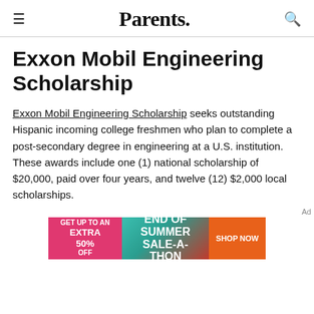Parents.
Exxon Mobil Engineering Scholarship
Exxon Mobil Engineering Scholarship seeks outstanding Hispanic incoming college freshmen who plan to complete a post-secondary degree in engineering at a U.S. institution. These awards include one (1) national scholarship of $20,000, paid over four years, and twelve (12) $2,000 local scholarships.
[Figure (other): Advertisement banner: GET UP TO AN EXTRA 50% OFF | END OF SUMMER SALE-A-THON | SHOP NOW]